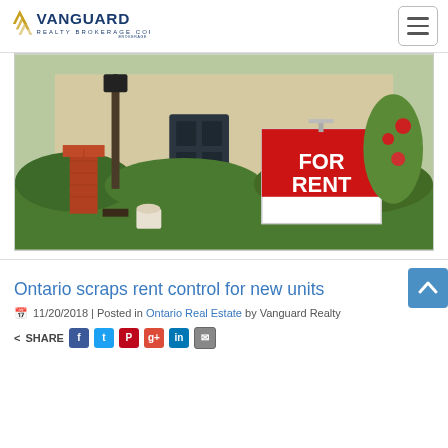Vanguard Realty Brokerage Corp.
[Figure (photo): A suburban house with a red 'FOR RENT' sign on the front lawn, with green hedges and brick mailbox visible]
Ontario scraps rent control for new units
11/20/2018 | Posted in Ontario Real Estate by Vanguard Realty
SHARE [Facebook] [Twitter] [Pinterest] [Google+] [LinkedIn] [Email]